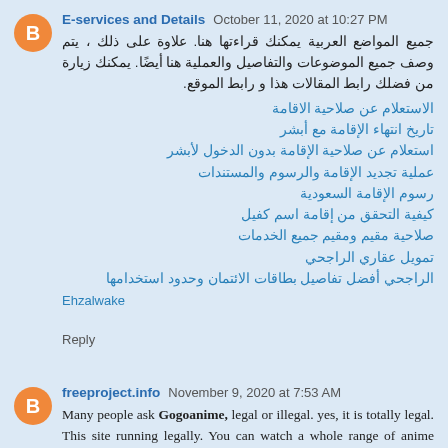E-services and Details   October 11, 2020 at 10:27 PM
جميع المواضع العربية يمكنك قراءتها هنا. علاوة على ذلك ، يتم وصف جميع الموضوعات والتفاصيل والعملية هنا أيضًا. يمكنك زيارة من فضلك رابط المقالات هذا و رابط الموقع.
الاستعلام عن صلاحية الاقامة
تاريخ انتهاء الإقامة مع أبشر
استعلام عن صلاحية الإقامة بدون الدخول لأبشر
عملية تجديد الإقامة والرسوم والمستندات
رسوم الإقامة السعودية
كيفية التحقق من إقامة اسم كفيل
صلاحية مقيم ومقيم جميع الخدمات
تمويل عقاري الراجحي
الراجحي أفضل تفاصيل بطاقات الائتمان وحدود استخدامها
Ehzalwake
Reply
freeproject.info   November 9, 2020 at 7:53 AM
Many people ask Gogoanime, legal or illegal. yes, it is totally legal. This site running legally. You can watch a whole range of anime series free. Everyone can enjoy watching with their family